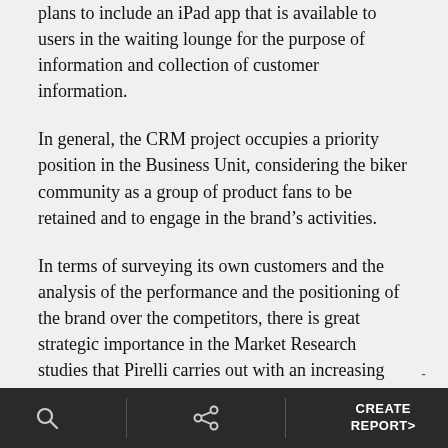plans to include an iPad app that is available to users in the waiting lounge for the purpose of information and collection of customer information.
In general, the CRM project occupies a priority position in the Business Unit, considering the biker community as a group of product fans to be retained and to engage in the brand’s activities.
In terms of surveying its own customers and the analysis of the performance and the positioning of the brand over the competitors, there is great strategic importance in the Market Research studies that Pirelli carries out with an increasing level of innovation for the methodologies and content. Also in
CREATE REPORT>